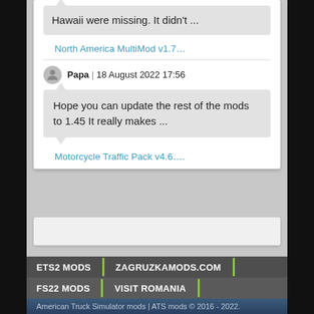Hawaii were missing. It didn't...
North America MultiMod v1.7…
Papa | 18 August 2022 17:56
Hope you can update the rest of the mods to 1.45 It really makes ...
Motorcycle Traffic Pack v4.6….
ETS2 MODS
ZAGRUZKAMODS.COM
FS22 MODS
VISIT ROMANIA
American Truck Simulator mods | ATS mods © 2016 - 2022. Download-ATS.com